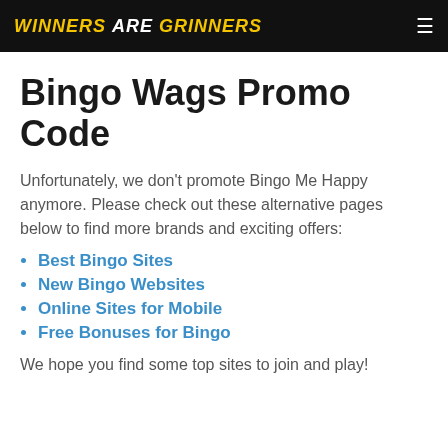WINNERS ARE GRINNERS
Bingo Wags Promo Code
Unfortunately, we don't promote Bingo Me Happy anymore. Please check out these alternative pages below to find more brands and exciting offers:
Best Bingo Sites
New Bingo Websites
Online Sites for Mobile
Free Bonuses for Bingo
We hope you find some top sites to join and play!